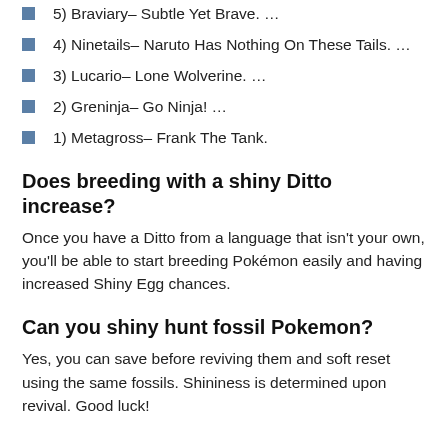5) Braviary– Subtle Yet Brave. …
4) Ninetails– Naruto Has Nothing On These Tails. …
3) Lucario– Lone Wolverine. …
2) Greninja– Go Ninja! …
1) Metagross– Frank The Tank.
Does breeding with a shiny Ditto increase?
Once you have a Ditto from a language that isn't your own, you'll be able to start breeding Pokémon easily and having increased Shiny Egg chances.
Can you shiny hunt fossil Pokemon?
Yes, you can save before reviving them and soft reset using the same fossils. Shininess is determined upon revival. Good luck!